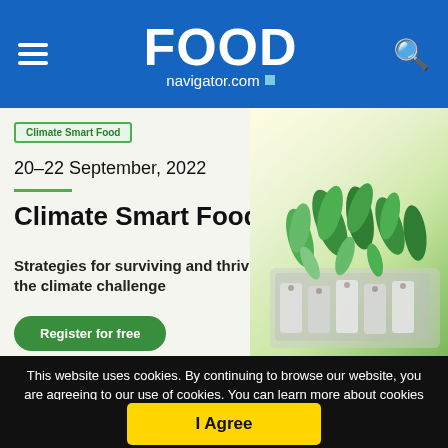FOOD navigator.com
[Figure (screenshot): Climate Smart Food event banner with green tag, date 20-22 September 2022, title 'Climate Smart Food', subtitle 'Strategies for surviving and thriving in the climate challenge', Register for free button, and plant photo on right]
This website uses cookies. By continuing to browse our website, you are agreeing to our use of cookies. You can learn more about cookies by visiting our privacy & cookies policy page.
I Agree